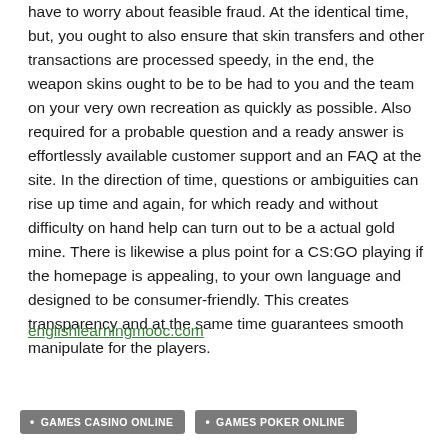have to worry about feasible fraud. At the identical time, but, you ought to also ensure that skin transfers and other transactions are processed speedy, in the end, the weapon skins ought to be to be had to you and the team on your very own recreation as quickly as possible. Also required for a probable question and a ready answer is effortlessly available customer support and an FAQ at the site. In the direction of time, questions or ambiguities can rise up time and again, for which ready and without difficulty on hand help can turn out to be a actual gold mine. There is likewise a plus point for a CS:GO playing if the homepage is appealing, to your own language and designed to be consumer-friendly. This creates transparency and at the same time guarantees smooth manipulate for the players.
englishlearningmooc.com
GAMES CASINO ONLINE
GAMES POKER ONLINE